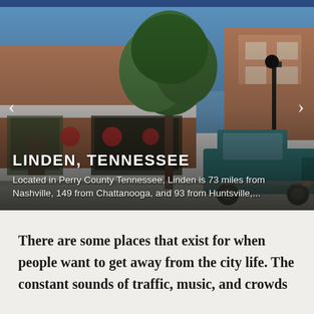[Figure (photo): Street-level photo of downtown Linden, Tennessee showing brick storefronts with a cafe, a large green tree, a vintage teal pickup truck parked on the street, and a hotel building in the background under a clear blue sky.]
LINDEN, TENNESSEE
Located in Perry County Tennessee, Linden is 73 miles from Nashville, 149 from Chattanooga, and 93 from Huntsville,...
There are some places that exist for when people want to get away from the city life. The constant sounds of traffic, music, and crowds